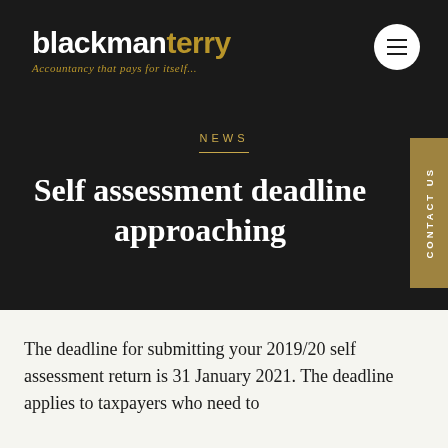blackmanterry — Accountancy that pays for itself...
NEWS
Self assessment deadline approaching
The deadline for submitting your 2019/20 self assessment return is 31 January 2021. The deadline applies to taxpayers who need to